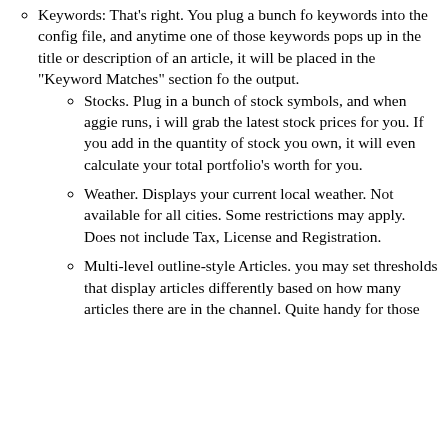Keywords: That's right. You plug a bunch fo keywords into the config file, and anytime one of those keywords pops up in the title or description of an article, it will be placed in the "Keyword Matches" section fo the output.
Stocks. Plug in a bunch of stock symbols, and when aggie runs, i will grab the latest stock prices for you. If you add in the quantity of stock you own, it will even calculate your total portfolio's worth for you.
Weather. Displays your current local weather. Not available for all cities. Some restrictions may apply. Does not include Tax, License and Registration.
Multi-level outline-style Articles. you may set thresholds that display articles differently based on how many articles there are in the channel. Quite handy for those